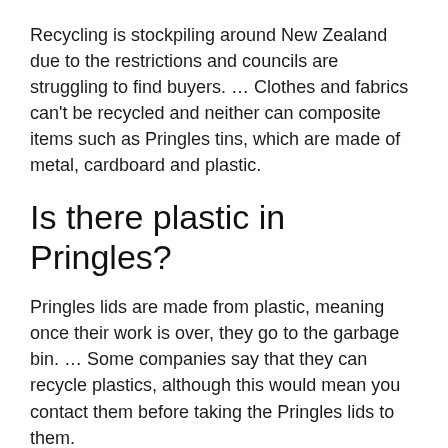Recycling is stockpiling around New Zealand due to the restrictions and councils are struggling to find buyers. … Clothes and fabrics can't be recycled and neither can composite items such as Pringles tins, which are made of metal, cardboard and plastic.
Is there plastic in Pringles?
Pringles lids are made from plastic, meaning once their work is over, they go to the garbage bin. … Some companies say that they can recycle plastics, although this would mean you contact them before taking the Pringles lids to them.
Can a Pringles can hold